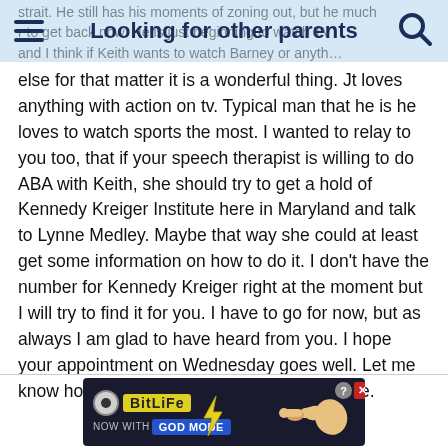Looking for other parents
else for that matter it is a wonderful thing. Jt loves anything with action on tv. Typical man that he is he loves to watch sports the most. I wanted to relay to you too, that if your speech therapist is willing to do ABA with Keith, she should try to get a hold of Kennedy Kreiger Institute here in Maryland and talk to Lynne Medley. Maybe that way she could at least get some information on how to do it. I don't have the number for Kennedy Kreiger right at the moment but I will try to find it for you. I have to go for now, but as always I am glad to have heard from you. I hope your appointment on Wednesday goes well. Let me know how you and Keith make out. Take care.
[Figure (infographic): BitLife advertisement banner: 'NOW WITH GOD MODE', dark background with yellow BitLife logo, blue GOD MODE badge, hand pointing graphic, lightning bolt, close and help buttons]